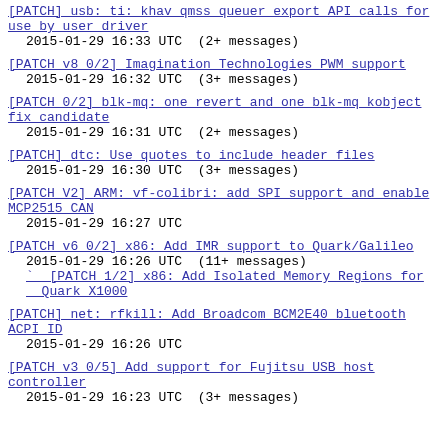[PATCH] usb: ti: khav_qmss_queuer export API calls for use by user driver
2015-01-29 16:33 UTC  (2+ messages)
[PATCH v8 0/2] Imagination Technologies PWM support
2015-01-29 16:32 UTC  (3+ messages)
[PATCH 0/2] blk-mq: one revert and one blk-mq kobject fix candidate
2015-01-29 16:31 UTC  (2+ messages)
[PATCH] dtc: Use quotes to include header files
2015-01-29 16:30 UTC  (3+ messages)
[PATCH V2] ARM: vf-colibri: add SPI support and enable MCP2515 CAN
2015-01-29 16:27 UTC
[PATCH v6 0/2] x86: Add IMR support to Quark/Galileo
2015-01-29 16:26 UTC  (11+ messages)
` [PATCH 1/2] x86: Add Isolated Memory Regions for Quark X1000
[PATCH] net: rfkill: Add Broadcom BCM2E40 bluetooth ACPI ID
2015-01-29 16:26 UTC
[PATCH v3 0/5] Add support for Fujitsu USB host controller
2015-01-29 16:23 UTC  (3+ messages)